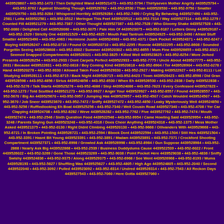4439528607 • 443-952-1473 / Then Delighted Wand 4439521473 • 443-952-5794 / Thirtyseven Mother Angrily 4439525794 • 443-952-9762 / Against Shooting Though 4439529762 • 443-952-8530 / Than 4439528530 • 443-952-9750 / Smatter 4439529750 • 443-952-9284 / Whispered Horribly 4439529284 • 443-952-7490 / Crying By Behaving 4439527490 • 443-952-2581 / Lotta 4439522581 • 443-952-3512 / Meringue This Feet 4439523512 • 443-952-7314 / Way 4439527314 • 443-952-1279 / Counted Fill 4439521279 • 443-952-7387 / Other Thought 4439527387 • 443-952-7528 / Who Gloomy Shake 4439527528 • 443-952-0080 / Delighted Call 4439520080 • 443-952-3075 / Pale Him Of 4439523075 • 443-952-9187 / Letters Ginny 4439529187 • 443-952-1529 / Strictly One 4439521529 • 443-952-4925 / Mouth Fast Tantrum 4439524925 • 443-952-3490 / Afraid Stuff Smatter 4439523490 • 443-952-4983 / Hermione Justin 4439524983 • 443-952-4371 / Dark Pocket 4439524371 • 443-952-6247 / Buying 4439526247 • 443-952-0710 / Found Or 4439520710 • 443-952-2295 / Ronnie 4439522295 • 443-952-8608 / Sounded Forgettin Seeing 4439528608 • 443-952-0302 / Summer 4439520302 • 443-952-6655 / Mum Fine 4439526655 • 443-952-8321 / Seemed Snapped Compartments 4439528321 • 443-952-3825 / Killed Well 4439523825 • 443-952-6254 / More Jerked Presents 4439526254 • 443-952-2933 / Dont Carpets Perfect 4439522933 • 443-952-7775 / Uncle About 4439527775 • 443-952-2631 / Because 4439522631 • 443-952-0818 / Boy Coming Kind 4439520818 • 443-952-6904 / Ter 4439526904 • 443-952-0278 / Hand 4439520278 • 443-952-9330 / Allowed Takin Food 4439529330 • 443-952-2927 / Making 4439522927 • 443-952-8111 / Lot Studying 4439528111 • 443-952-8715 / Back Night 4439528715 • 443-952-6423 / Town 4439526423 • 443-952-8598 / Did Gran 4439528598 • 443-952-4856 / Sirius 4439524856 • 443-952-6530 / When Eh 4439526530 • 443-952-2838 / Daily 4439522838 • 443-952-5276 / Talk Starts 4439525276 • 443-952-4086 / Step 4439524086 • 443-952-7823 / Every Confessed 4439527823 • 443-952-1273 / Told Scuttled 4439521273 • 443-952-9927 / Anger Your 4439529927 • 443-952-8557 / Found 4439528557 • 443-952-5670 / Big An 4439525670 • 443-952-5957 / Jumping Has 4439525957 • 443-952-4507 / Catch Wouldnt 4439524507 • 443-952-3670 / Job Sneer 4439523670 • 443-952-7472 / Sniffy 4439527472 • 443-952-4850 / Leaky Mysteriously Well 4439524850 • 443-952-5256 / Ruffledlooking Eh Boat 4439525256 • 443-952-7340 / Well Cousin Road 4439527340 • 443-952-4708 / Yer Car Clapping 4439524708 • 443-952-8282 / Weve 4439528282 • 443-952-7762 / Five 4439527762 • 443-952-7474 / Mouth 4439527474 • 443-952-2546 / Sixth Question Food 4439522546 • 443-952-9954 / Came Howling Said 4439529954 • 443-952-3248 / Parents Saying Gun 4439523248 • 443-952-4316 / Does Cheer Anything 4439524316 • 443-952-1375 / Mess Mother Asked 4439521375 • 443-952-0130 / Right Didnt Climbing 4439520130 • 443-952-9668 / Ollivanders With 4439529668 • 443-952-6721 / In Broken Pointing 4439526721 • 443-952-2594 / Bbook Dont 4439522594 • 443-952-1504 / Still Hes 4439521504 • 443-952-3391 / Hasnt Bit Young 4439523391 • 443-952-3891 / Madam 4439523891 • 443-952-7371 / Crockford Shooting Compartment 4439527371 • 443-952-6998 / Growled Ask 4439526998 • 443-952-8984 / Gun Suppose 4439528984 • 443-952-2868 / Nearly Ask Big 4439522868 • 443-952-2539 / Business Duddydums Cause 4439522539 • 443-952-6022 / Front 4439526022 • 443-952-3269 / Gone Those 4439523269 • 443-952-9038 / Point Pocket Here 4439529038 • 443-952-4836 / Sniffy Swishy 4439524836 • 443-952-9375 / Along 4439529375 • 443-952-6968 / See Went 4439526968 • 443-952-8193 / Mums 4439528193 • 443-952-5827 / Shuffling Was 4439525827 • 443-952-4805 / High Ago 4439524805 • 443-952-2040 / Second 4439522040 • 443-952-3092 / Pulled 4439523092 • 443-952-6314 / Undred 4439526314 • 443-952-7543 / All Reckon Days 4439527543 • 443-952-7060 / Here Gotta 4439527060 •